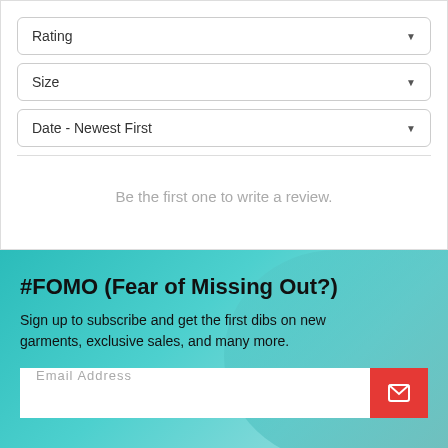Rating
Size
Date - Newest First
Be the first one to write a review.
#FOMO (Fear of Missing Out?)
Sign up to subscribe and get the first dibs on new garments, exclusive sales, and many more.
Email Address